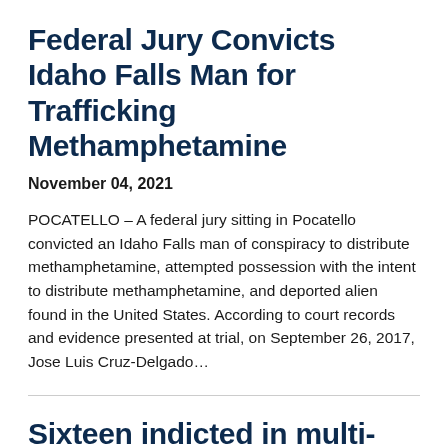Federal Jury Convicts Idaho Falls Man for Trafficking Methamphetamine
November 04, 2021
POCATELLO – A federal jury sitting in Pocatello convicted an Idaho Falls man of conspiracy to distribute methamphetamine, attempted possession with the intent to distribute methamphetamine, and deported alien found in the United States. According to court records and evidence presented at trial, on September 26, 2017, Jose Luis Cruz-Delgado…
Sixteen indicted in multi-state drug distribution ring
November 03, 2021